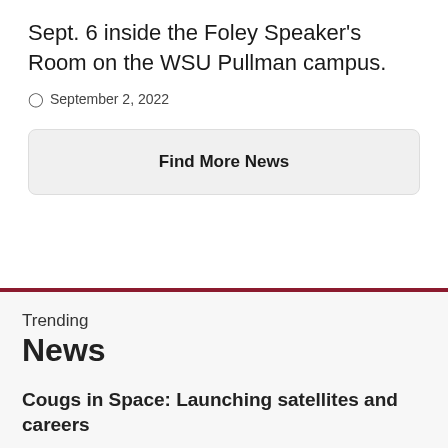Sept. 6 inside the Foley Speaker's Room on the WSU Pullman campus.
September 2, 2022
Find More News
Trending News
Cougs in Space: Launching satellites and careers